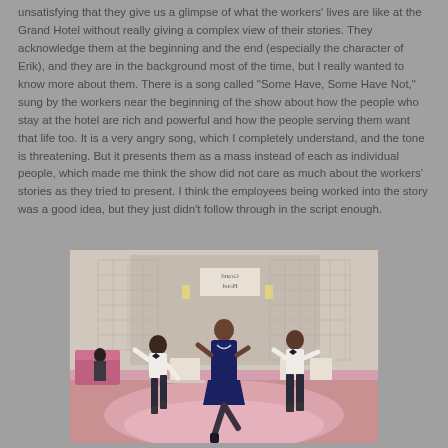unsatisfying that they give us a glimpse of what the workers' lives are like at the Grand Hotel without really giving a complex view of their stories. They acknowledge them at the beginning and the end (especially the character of Erik), and they are in the background most of the time, but I really wanted to know more about them. There is a song called "Some Have, Some Have Not," sung by the workers near the beginning of the show about how the people who stay at the hotel are rich and powerful and how the people serving them want that life too. It is a very angry song, which I completely understand, and the tone is threatening. But it presents them as a mass instead of each as individual people, which made me think the show did not care as much about the workers' stories as they tried to present. I think the employees being worked into the story was a good idea, but they just didn't follow through in the script enough.
[Figure (photo): Theatre production photo showing three performers dancing on stage at the Grand Hotel. A woman in a navy blue dress dances in the center, flanked by two men in white shirts and dark trousers. The stage set shows the Grand Hotel backdrop with signage visible in reverse, chairs, and pink-lit floor.]